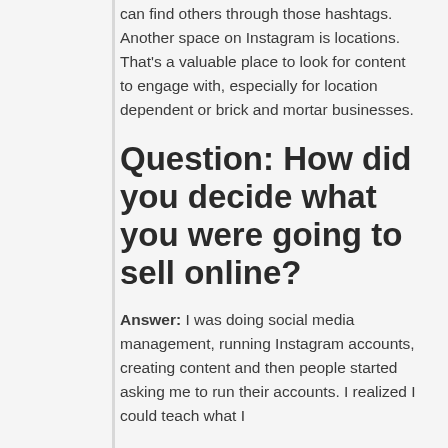can find others through those hashtags. Another space on Instagram is locations. That's a valuable place to look for content to engage with, especially for location dependent or brick and mortar businesses.
Question: How did you decide what you were going to sell online?
Answer: I was doing social media management, running Instagram accounts, creating content and then people started asking me to run their accounts. I realized I could teach what I